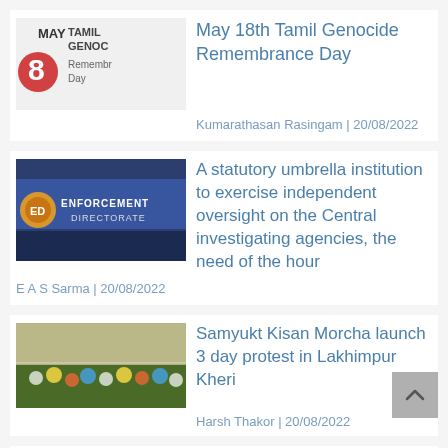[Figure (logo): May 8 Tamil Genocide Remembrance Day logo with red flower]
May 18th Tamil Genocide Remembrance Day
Kumarathasan Rasingam | 20/08/2022
[Figure (photo): Enforcement Directorate banner photo]
A statutory umbrella institution to exercise independent oversight on the Central investigating agencies, the need of the hour
E A S Sarma | 20/08/2022
[Figure (photo): Samyukt Kisan Morcha protest crowd photo]
Samyukt Kisan Morcha launch 3 day protest in Lakhimpur Kheri
Harsh Thakor | 20/08/2022
Human trafficking on the rise again in post-Covid period
Pooja Yadav | 20/08/2022